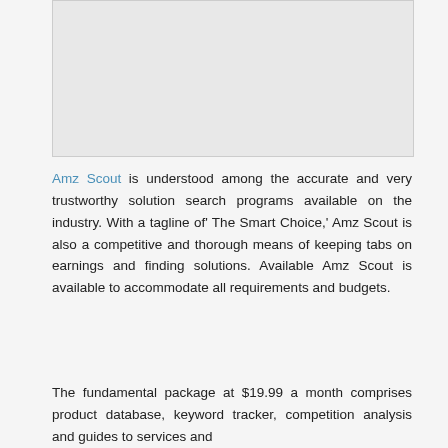[Figure (other): Blank/placeholder image area at top of page]
Amz Scout is understood among the accurate and very trustworthy solution search programs available on the industry. With a tagline of‘ The Smart Choice,’ Amz Scout is also a competitive and thorough means of keeping tabs on earnings and finding solutions. Available Amz Scout is available to accommodate all requirements and budgets.
The fundamental package at $19.99 a month comprises product database, keyword tracker, competition analysis and guides to services and